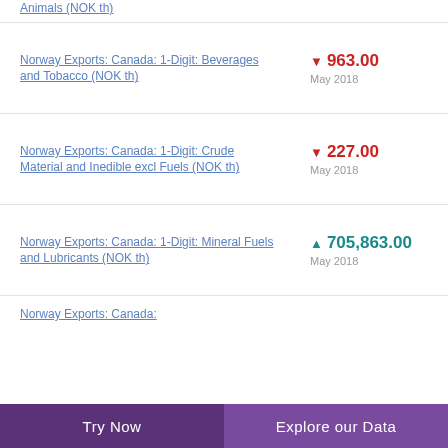Animals (NOK th) [partial, top of page]
Norway Exports: Canada: 1-Digit: Beverages and Tobacco (NOK th)
Norway Exports: Canada: 1-Digit: Crude Material and Inedible excl Fuels (NOK th)
Norway Exports: Canada: 1-Digit: Mineral Fuels and Lubricants (NOK th)
Norway Exports: Canada: [truncated]
Try Now | Explore our Data